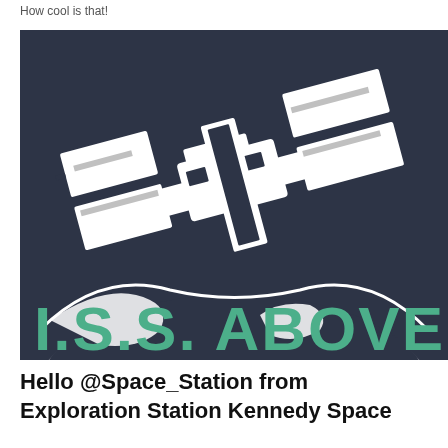How cool is that!
[Figure (illustration): ISS Above logo image: dark navy blue background with a stylized illustration of the International Space Station (ISS) above a white arc representing Earth, and large green text reading 'I.S.S. ABOVE' at the bottom. The ISS is depicted in white silhouette against the dark background.]
Hello @Space_Station from Exploration Station Kennedy Space